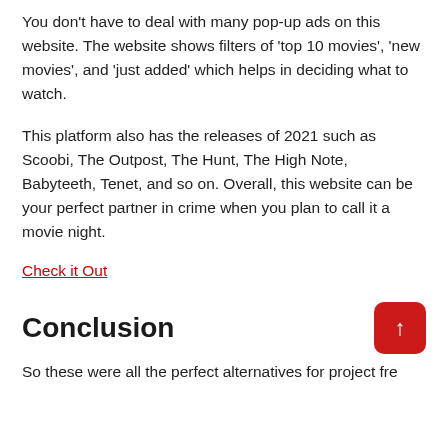You don't have to deal with many pop-up ads on this website. The website shows filters of 'top 10 movies', 'new movies', and 'just added' which helps in deciding what to watch.
This platform also has the releases of 2021 such as Scoobi, The Outpost, The Hunt, The High Note, Babyteeth, Tenet, and so on. Overall, this website can be your perfect partner in crime when you plan to call it a movie night.
Check it Out
Conclusion
So these were all the perfect alternatives for project free